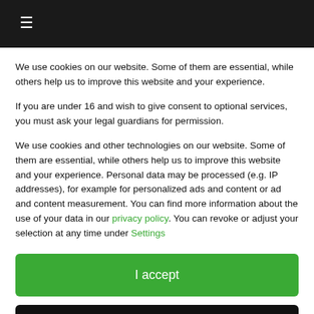≡ [logo]
We use cookies on our website. Some of them are essential, while others help us to improve this website and your experience.
If you are under 16 and wish to give consent to optional services, you must ask your legal guardians for permission.
We use cookies and other technologies on our website. Some of them are essential, while others help us to improve this website and your experience. Personal data may be processed (e.g. IP addresses), for example for personalized ads and content or ad and content measurement. You can find more information about the use of your data in our privacy policy. You can revoke or adjust your selection at any time under Settings.
I accept
Individual Privacy Preferences